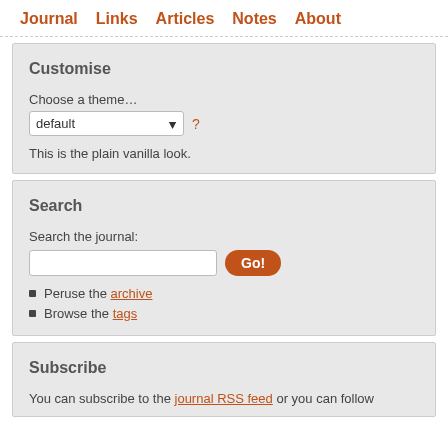Journal  Links  Articles  Notes  About
Customise
Choose a theme…
default  ?
This is the plain vanilla look.
Search
Search the journal:
Peruse the archive
Browse the tags
Subscribe
You can subscribe to the journal RSS feed or you can follow